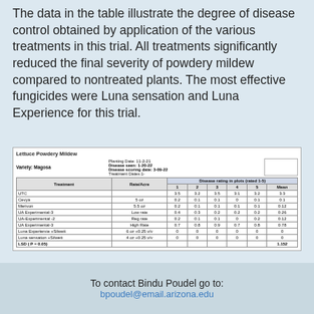The data in the table illustrate the degree of disease control obtained by application of the various treatments in this trial. All treatments significantly reduced the final severity of powdery mildew compared to nontreated plants. The most effective fungicides were Luna sensation and Luna Experience for this trial.
| Treatment | Rate/Acre | 1 | 2 | 3 | 4 | 5 | Mean |
| --- | --- | --- | --- | --- | --- | --- | --- |
| UTC |  | 3.5 | 3.2 | 3.5 | 3.1 | 3.2 | 3.3 |
| Cevya | 5 oz | 0.2 | 0.1 | 0.1 | 0 | 0.1 | 0.1 |
| Merivon | 5.5 oz | 0.2 | 0.1 | 0.1 | 0.1 | 0.1 | 0.12 |
| UA Experimental-3 | Low rate | 0.4 | 0.3 | 0.2 | 0.2 | 0.2 | 0.26 |
| UA-Experimental -2 | Reg rate | 0.2 | 0.1 | 0.1 | 0 | 0.2 | 0.12 |
| UA Experimental-3 | High Rate | 0.7 | 0.8 | 0.9 | 0.7 | 0.8 | 0.78 |
| Luna Experience +Silwett | 6 oz +0.25 v/v | 0 | 0 | 0 | 0 | 0 | 0 |
| Luna sensation +Silwett | 4 oz +0.25 v/v | 0 | 0 | 0 | 0 | 0 | 0 |
| LSD ( P = 0.05) |  |  |  |  |  |  | 1.152 |
To contact Bindu Poudel go to:
bpoudel@email.arizona.edu